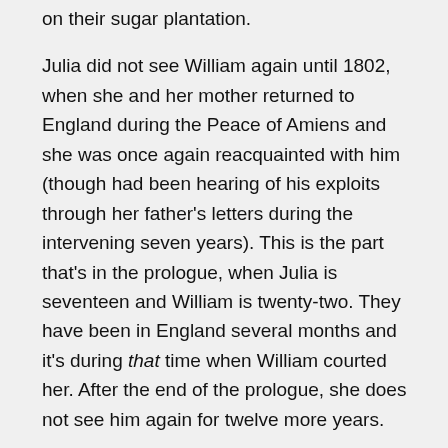on their sugar plantation.

Julia did not see William again until 1802, when she and her mother returned to England during the Peace of Amiens and she was once again reacquainted with him (though had been hearing of his exploits through her father's letters during the intervening seven years). This is the part that's in the prologue, when Julia is seventeen and William is twenty-two. They have been in England several months and it's during that time when William courted her. After the end of the prologue, she does not see him again for twelve more years.

When Chapter One opens in 1814, Julia is